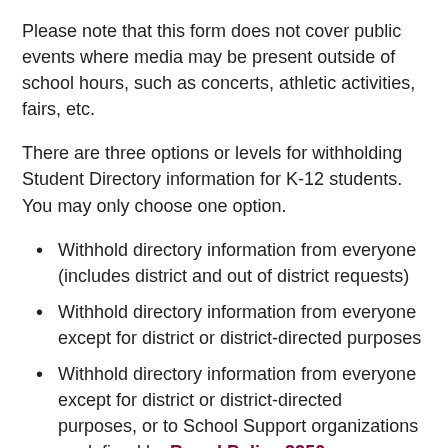Please note that this form does not cover public events where media may be present outside of school hours, such as concerts, athletic activities, fairs, etc.
There are three options or levels for withholding Student Directory information for K-12 students. You may only choose one option.
Withhold directory information from everyone (includes district and out of district requests)
Withhold directory information from everyone except for district or district-directed purposes
Withhold directory information from everyone except for district or district-directed purposes, or to School Support organizations as defined by Board Policy 3250
This form should be submitted annually to your